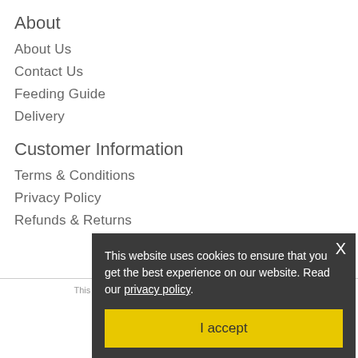About
About Us
Contact Us
Feeding Guide
Delivery
Customer Information
Terms & Conditions
Privacy Policy
Refunds & Returns
This website is Copyright © 2022, All Rights Reserved
Ecommerce Design by ShooWired
This website uses cookies to ensure that you get the best experience on our website. Read our privacy policy.
I accept